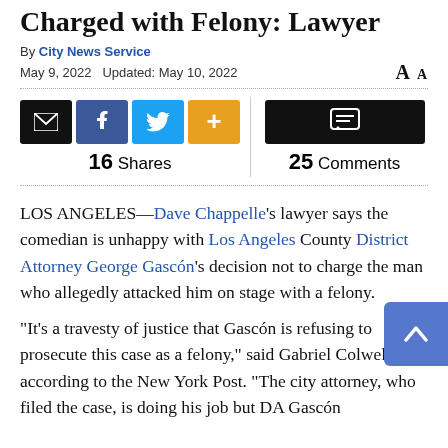Charged with Felony: Lawyer
By City News Service
May 9, 2022   Updated: May 10, 2022
16 Shares   25 Comments
LOS ANGELES—Dave Chappelle's lawyer says the comedian is unhappy with Los Angeles County District Attorney George Gascón's decision not to charge the man who allegedly attacked him on stage with a felony.
“It’s a travesty of justice that Gascón is refusing to prosecute this case as a felony,” said Gabriel Colwell, according to the New York Post. “The city attorney, who filed the case, is doing his job but DA Gascón